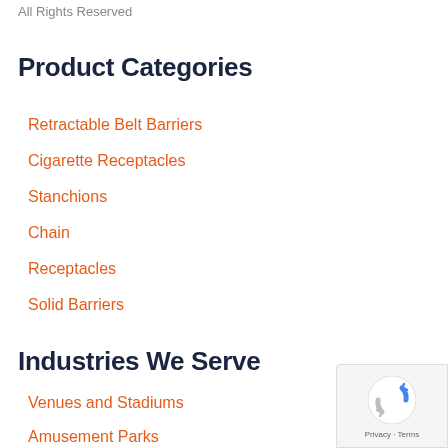All Rights Reserved
Product Categories
Retractable Belt Barriers
Cigarette Receptacles
Stanchions
Chain
Receptacles
Solid Barriers
Industries We Serve
Venues and Stadiums
Amusement Parks